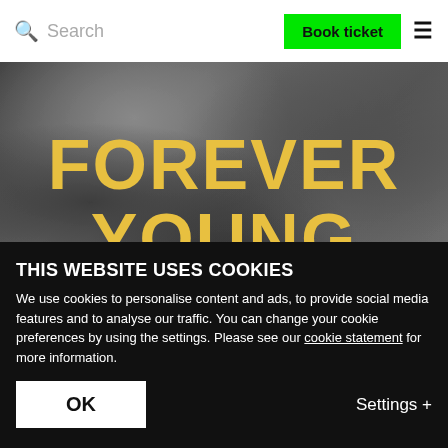Search  Book ticket  ≡
[Figure (photo): Black and white textured background with bold yellow uppercase text reading 'FOREVER YOUNG']
THIS WEBSITE USES COOKIES
We use cookies to personalise content and ads, to provide social media features and to analyse our traffic. You can change your cookie preferences by using the settings. Please see our cookie statement for more information.
OK    Settings +